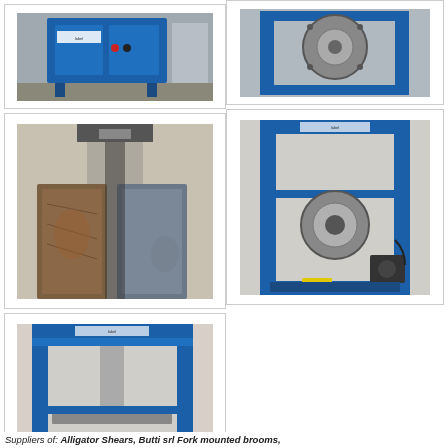[Figure (photo): Blue industrial machine (Alligator Shear or press) front view, blue cabinet with label]
[Figure (photo): Industrial machine with heavy mechanical component on blue frame, close-up]
[Figure (photo): Close-up of cutting blades or shear mechanism, worn/rusty metal]
[Figure (photo): Full view of blue-framed hydraulic press machine with circular die and motor]
[Figure (photo): Full view of blue-framed hydraulic press machine from front, motor visible at bottom]
Suppliers of: Alligator Shears, Butti srl Fork mounted brooms,